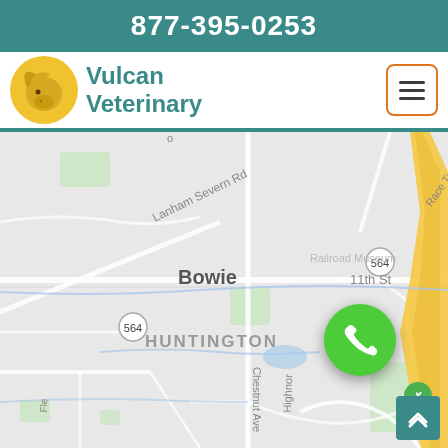877-395-0253
[Figure (logo): Vulcan Veterinary logo with golden dog silhouette and teal brand name text]
[Figure (map): Google Maps view showing Bowie, Maryland area with Huntington neighborhood, Bowie Golf Club, route 564, Chestnut Ave, Lanham Severn Rd, 11th St, Race Track road, and a green phone call button overlay]